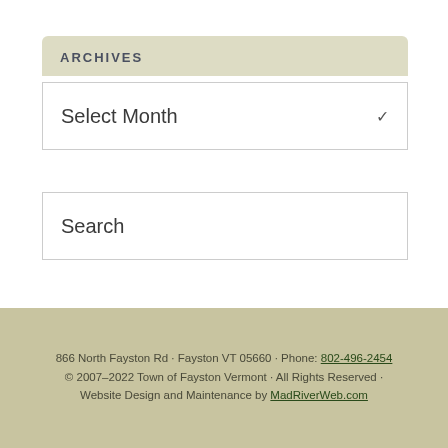ARCHIVES
Select Month
Search
866 North Fayston Rd · Fayston VT 05660 · Phone: 802-496-2454
© 2007–2022 Town of Fayston Vermont · All Rights Reserved · Website Design and Maintenance by MadRiverWeb.com